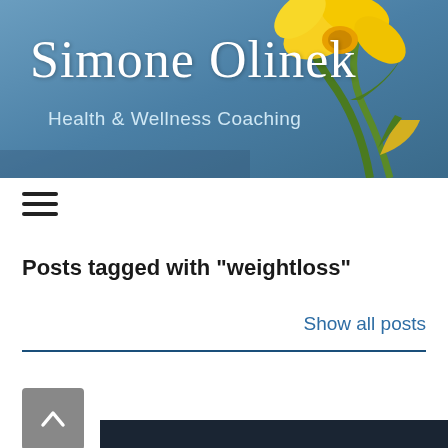[Figure (photo): Website header banner with blue gradient background and yellow daffodil flower photograph on the right side, with script logo 'Simone Olinek' and subtitle 'Health & Wellness Coaching']
Simone Olinek
Health & Wellness Coaching
[Figure (other): Hamburger menu icon (three horizontal lines)]
Posts tagged with "weightloss"
Show all posts
[Figure (other): Scroll to top button (grey square with upward chevron arrow)]
[Figure (photo): Dark navy/black background section at bottom of page, partial view of next post image]